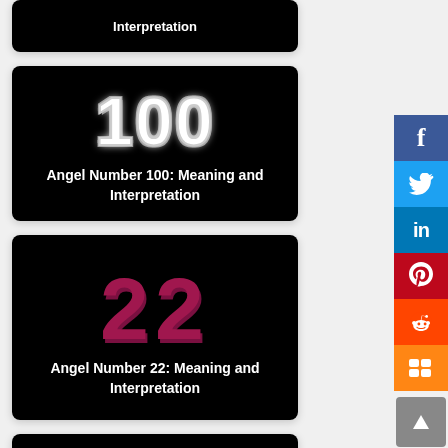[Figure (screenshot): Partial top card showing 'Interpretation' text on black background]
[Figure (screenshot): Card showing '100' in white outlined style with caption 'Angel Number 100: Meaning and Interpretation' on black background]
Angel Number 100: Meaning and Interpretation
[Figure (screenshot): Card showing '22' in large pink/maroon text with caption 'Angel Number 22: Meaning and Interpretation' on black background]
Angel Number 22: Meaning and Interpretation
[Figure (screenshot): Partial bottom card on black background, partially cut off]
[Figure (infographic): Social media sidebar with Facebook, Twitter, LinkedIn, Pinterest, Reddit, and Mix share buttons plus scroll-to-top button]